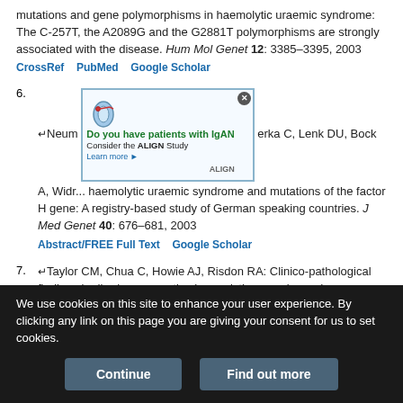mutations and gene polymorphisms in haemolytic uraemic syndrome: The C-257T, the A2089G and the G2881T polymorphisms are strongly associated with the disease. Hum Mol Genet 12: 3385–3395, 2003
CrossRef  PubMed  Google Scholar
6. ↵Neumann ... erka C, Lenk D... U, Bock A, Widr... syndrome and mutations of the factor H gene: A registry-based study of German speaking countries. J Med Genet 40: 676–681, 2003
Abstract/FREE Full Text  Google Scholar
7. ↵Taylor CM, Chua C, Howie AJ, Risdon RA: Clinico-pathological findings in diarrhoea-negative haemolytic uraemic syndrome. Pediatr Nephrol 19: 419–425, 2004  CrossRef  PubMed  Google Scholar
8. ↵Perez-Caballero D, Gonzalez-Rubio C, Gallardo ME, Vera M, Lopez-
We use cookies on this site to enhance your user experience. By clicking any link on this page you are giving your consent for us to set cookies.
Continue    Find out more